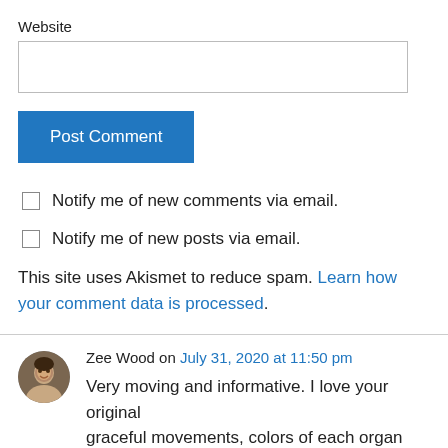Website
Post Comment
Notify me of new comments via email.
Notify me of new posts via email.
This site uses Akismet to reduce spam. Learn how your comment data is processed.
Zee Wood on July 31, 2020 at 11:50 pm
Very moving and informative. I love your original graceful movements, colors of each organ